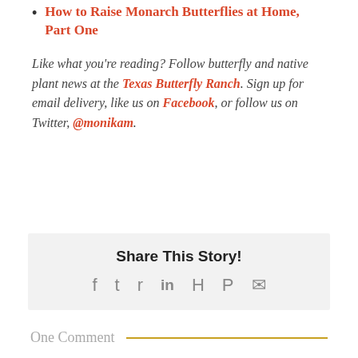How to Raise Monarch Butterflies at Home, Part One
Like what you're reading? Follow butterfly and native plant news at the Texas Butterfly Ranch. Sign up for email delivery, like us on Facebook, or follow us on Twitter, @monikam.
Share This Story!
[Figure (other): Social share icons: Facebook, Twitter, Reddit, LinkedIn, WhatsApp, Pinterest, Email]
One Comment